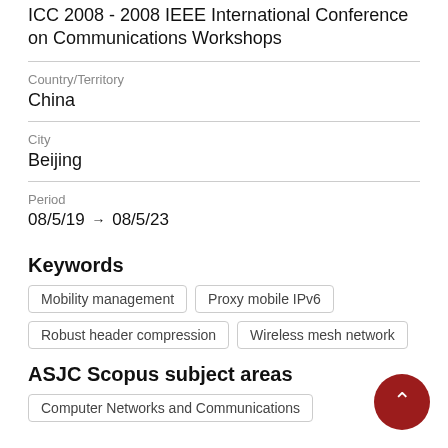ICC 2008 - 2008 IEEE International Conference on Communications Workshops
Country/Territory
China
City
Beijing
Period
08/5/19 → 08/5/23
Keywords
Mobility management
Proxy mobile IPv6
Robust header compression
Wireless mesh network
ASJC Scopus subject areas
Computer Networks and Communications